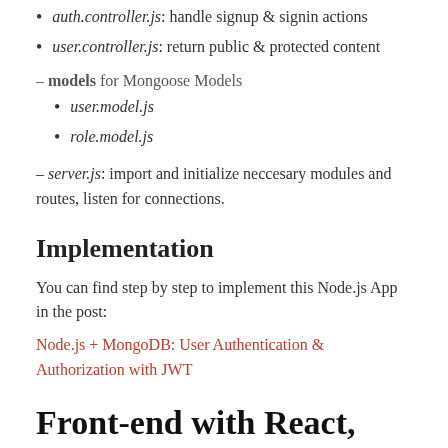auth.controller.js: handle signup & signin actions
user.controller.js: return public & protected content
– models for Mongoose Models
user.model.js
role.model.js
– server.js: import and initialize neccesary modules and routes, listen for connections.
Implementation
You can find step by step to implement this Node.js App in the post:
Node.js + MongoDB: User Authentication & Authorization with JWT
Front-end with React, React Router
Overview